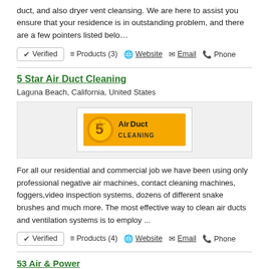duct, and also dryer vent cleansing. We are here to assist you ensure that your residence is in outstanding problem, and there are a few pointers listed belo…
✔ Verified  ≡ Products (3)  🌐 Website  ✉ Email  📞 Phone
5 Star Air Duct Cleaning
Laguna Beach, California, United States
[Figure (logo): 5 Star Air Duct Cleaning logo — yellow/gold badge with '5' star graphic and bold text 'AirDuct CLEANING' on yellow background]
For all our residential and commercial job we have been using only professional negative air machines, contact cleaning machines, foggers,video inspection systems, dozens of different snake brushes and much more. The most effective way to clean air ducts and ventilation systems is to employ ...
✔ Verified  ≡ Products (4)  🌐 Website  ✉ Email  📞 Phone
53 Air & Power